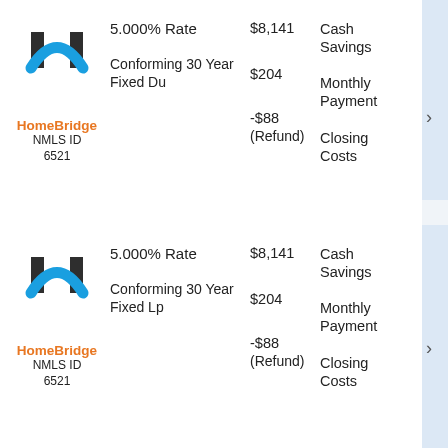[Figure (logo): HomeBridge house logo icon (dark pillars and blue arch)]
HomeBridge
NMLS ID
6521
5.000% Rate
Conforming 30 Year Fixed Du
$8,141
$204
-$88
(Refund)
Cash Savings
Monthly Payment
Closing Costs
[Figure (logo): HomeBridge house logo icon (dark pillars and blue arch)]
HomeBridge
NMLS ID
6521
5.000% Rate
Conforming 30 Year Fixed Lp
$8,141
$204
-$88
(Refund)
Cash Savings
Monthly Payment
Closing Costs